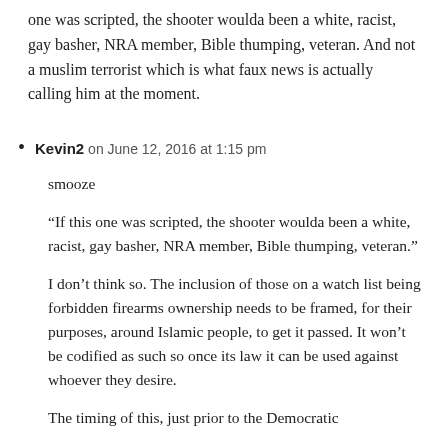one was scripted, the shooter woulda been a white, racist, gay basher, NRA member, Bible thumping, veteran. And not a muslim terrorist which is what faux news is actually calling him at the moment.
Kevin2 on June 12, 2016 at 1:15 pm
smooze
“If this one was scripted, the shooter woulda been a white, racist, gay basher, NRA member, Bible thumping, veteran.”
I don’t think so. The inclusion of those on a watch list being forbidden firearms ownership needs to be framed, for their purposes, around Islamic people, to get it passed. It won’t be codified as such so once its law it can be used against whoever they desire.
The timing of this, just prior to the Democratic